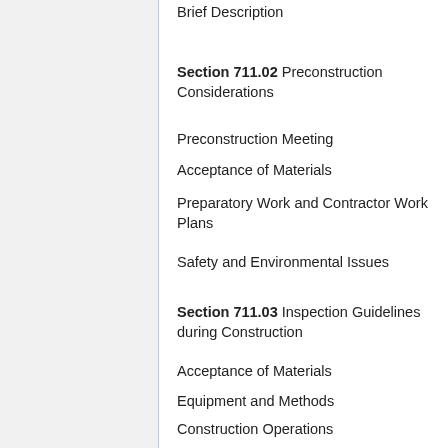Brief Description
Section 711.02 Preconstruction Considerations
Preconstruction Meeting
Acceptance of Materials
Preparatory Work and Contractor Work Plans
Safety and Environmental Issues
Section 711.03 Inspection Guidelines during Construction
Acceptance of Materials
Equipment and Methods
Construction Operations
Safety and Environmental Considerations